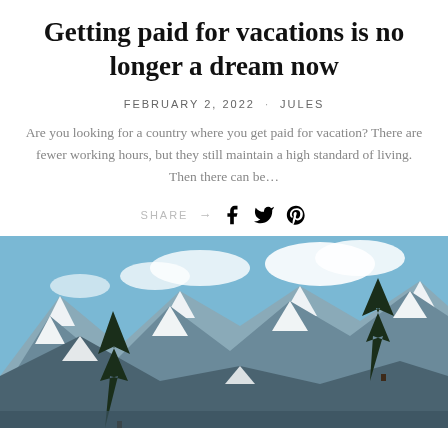Getting paid for vacations is no longer a dream now
FEBRUARY 2, 2022  ·  JULES
Are you looking for a country where you get paid for vacation? There are fewer working hours, but they still maintain a high standard of living. Then there can be…
SHARE →
[Figure (photo): Mountain landscape with snow-capped peaks, blue sky with clouds, and conifer trees in the foreground — a scenic alpine view.]